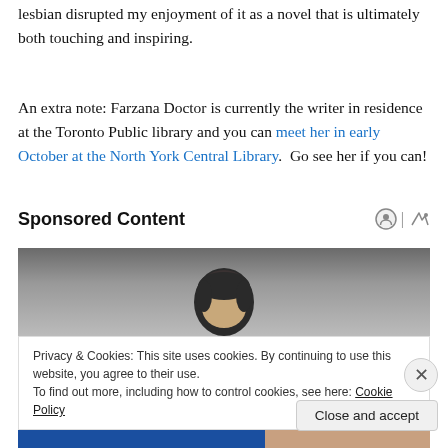lesbian disrupted my enjoyment of it as a novel that is ultimately both touching and inspiring.
An extra note: Farzana Doctor is currently the writer in residence at the Toronto Public library and you can meet her in early October at the North York Central Library.  Go see her if you can!
Sponsored Content
[Figure (photo): Photo of a person's head, dark hair visible, gray background]
Privacy & Cookies: This site uses cookies. By continuing to use this website, you agree to their use.
To find out more, including how to control cookies, see here: Cookie Policy
Close and accept